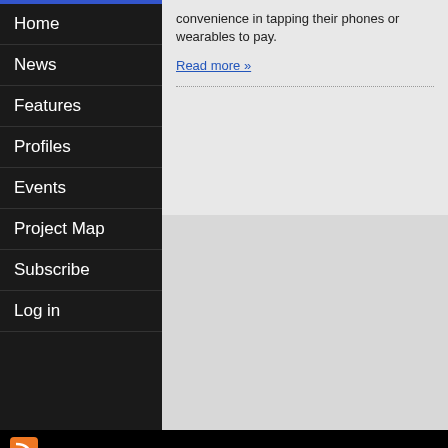Home
News
Features
Profiles
Events
Project Map
Subscribe
Log in
convenience in tapping their phones or wearables to pay.
Read more »
[Figure (logo): RSS feed icon (orange square with white RSS symbol)]
About Us   Contact Us   Terms of Use
[Figure (logo): RSS feed icon (orange square with white RSS symbol) in footer]
[Figure (logo): Twitter icon (blue square with white bird symbol) in footer]
Switch to Desktop Site
A  A  A
Copyright (C) Forthwrite Media SARL and NFC Times 2020